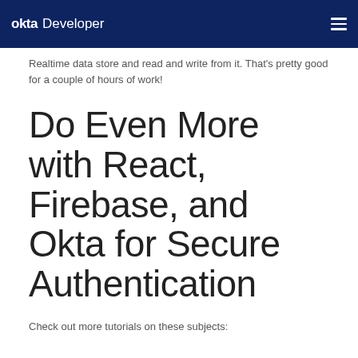okta Developer
Realtime data store and read and write from it. That's pretty good for a couple of hours of work!
Do Even More with React, Firebase, and Okta for Secure Authentication
Check out more tutorials on these subjects: